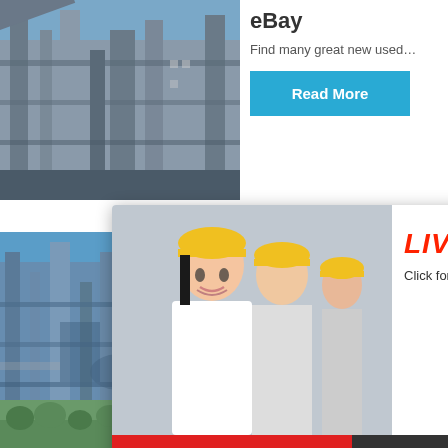[Figure (photo): Industrial plant with steel structures and conveyors against blue sky]
eBay
Find many great new used…
Read More
[Figure (photo): Industrial scaffolding and plant equipment against blue sky]
hour online
-
S
[Figure (photo): Crusher machine equipment]
Read
Click me to chat>>
Enquiry
limingjlmofen
[Figure (photo): Live chat popup with workers in yellow hard hats]
LIVE CHAT
Click for a Free Consultation
Chat now
Chat later
[Figure (photo): Green landscape with trees visible at bottom of page]
10/3 Ca